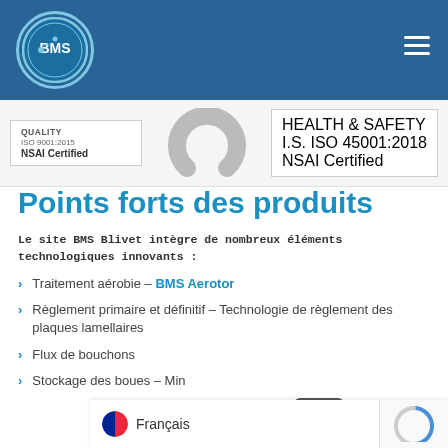[Figure (logo): BMS (Butler Manufacturing Services Limited) circular logo in white on dark blue header background]
[Figure (infographic): Certification strip showing QUALITY ISO 9001:2015 NSAI Certified and HEALTH & SAFETY I.S. ISO 45001:2018 NSAI Certified badges with gray arc logo in center]
Points forts des produits
Le site BMS Blivet intègre de nombreux éléments technologiques innovants :
Traitement aérobie – BMS Aerotor
Règlement primaire et définitif – Technologie de règlement des plaques lamellaires
Flux de bouchons
Stockage des boues – Min